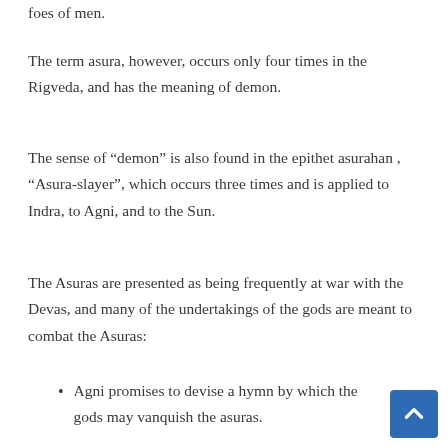foes of men.
The term asura, however, occurs only four times in the Rigveda, and has the meaning of demon.
The sense of “demon” is also found in the epithet asurahan , “Asura-slayer”, which occurs three times and is applied to Indra, to Agni, and to the Sun.
The Asuras are presented as being frequently at war with the Devas, and many of the undertakings of the gods are meant to combat the Asuras:
Agni promises to devise a hymn by which the gods may vanquish the asuras.